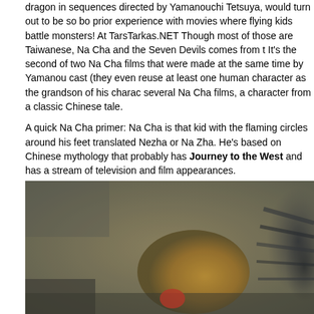dragon in sequences directed by Yamanouchi Tetsuya, would turn out to be so bo prior experience with movies where flying kids battle monsters! At TarsTarkas.NET Though most of those are Taiwanese, Na Cha and the Seven Devils comes from t It's the second of two Na Cha films that were made at the same time by Yamanou cast (they even reuse at least one human character as the grandson of his charac several Na Cha films, a character from a classic Chinese tale.
A quick Na Cha primer: Na Cha is that kid with the flaming circles around his feet translated Nezha or Na Zha. He's based on Chinese mythology that probably has Journey to the West and has a stream of television and film appearances.
Na Cha and the Seven Devils seems like it would be an idea kids film, just let the and dad go get hammered..I mean, go do chores. But there is an awful lot of boob a clumsy sensual way), and Shaw was ranking up the sexy in the early 70s. It doe on in the rest of the film.
[Figure (photo): A dark scene from a film showing figures, one in a yellow/orange costume and another in a striped outfit, set against a grey-green background.]